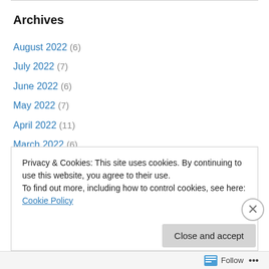Archives
August 2022 (6)
July 2022 (7)
June 2022 (6)
May 2022 (7)
April 2022 (11)
March 2022 (6)
February 2022 (4)
January 2022 (9)
December 2021 (7)
November 2021 (7)
Privacy & Cookies: This site uses cookies. By continuing to use this website, you agree to their use. To find out more, including how to control cookies, see here: Cookie Policy
Close and accept
Follow